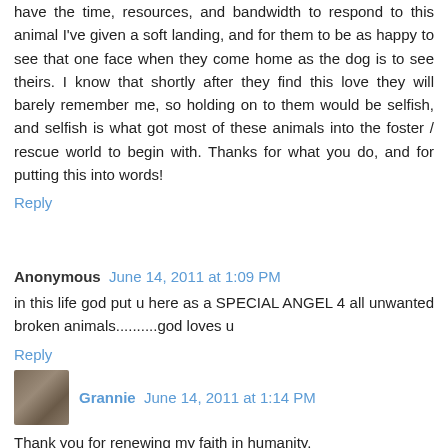have the time, resources, and bandwidth to respond to this animal I've given a soft landing, and for them to be as happy to see that one face when they come home as the dog is to see theirs. I know that shortly after they find this love they will barely remember me, so holding on to them would be selfish, and selfish is what got most of these animals into the foster / rescue world to begin with. Thanks for what you do, and for putting this into words!
Reply
Anonymous June 14, 2011 at 1:09 PM
in this life god put u here as a SPECIAL ANGEL 4 all unwanted broken animals..........god loves u
Reply
Grannie June 14, 2011 at 1:14 PM
Thank you for renewing my faith in humanity.
Reply